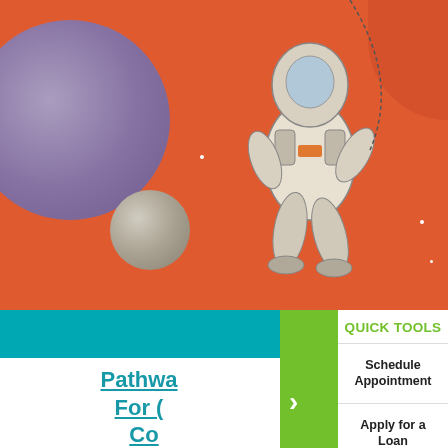[Figure (illustration): Orange background space illustration with astronaut floating, large purple/blue planet on the left, small grey moon, and white stars scattered.]
Pathwa... For (... Co...
Category: Blog | Auth...
Read More »
QUICK TOOLS
Schedule Appointment
Apply for a Loan
Current Specials
Make a Loan Payment